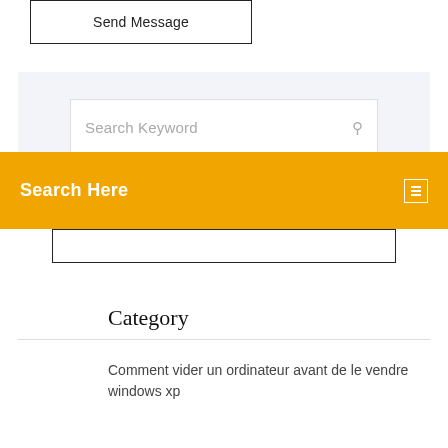[Figure (screenshot): Send Message button — a bordered box with the text 'Send Message' centered inside]
[Figure (screenshot): Search widget with a white input box containing placeholder text 'Search Keyword' and a search icon on the right, set inside a light grey/lavender background panel]
Search Here
Comment vider un ordinateur avant de le vendre windows xp